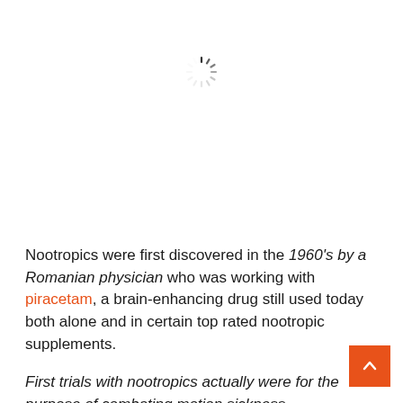[Figure (other): Loading spinner animation indicator (circular spinner with radial dashes in gray/dark tones)]
Nootropics were first discovered in the 1960's by a Romanian physician who was working with piracetam, a brain-enhancing drug still used today both alone and in certain top rated nootropic supplements.
First trials with nootropics actually were for the purpose of combating motion sickness.